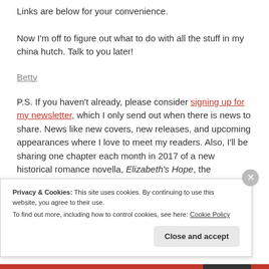Links are below for your convenience.
Now I'm off to figure out what to do with all the stuff in my china hutch. Talk to you later!
Betty
P.S. If you haven't already, please consider signing up for my newsletter, which I only send out when there is news to share. News like new covers, new releases, and upcoming appearances where I love to meet my readers. Also, I'll be sharing one chapter each month in 2017 of a new historical romance novella, Elizabeth's Hope, the
Privacy & Cookies: This site uses cookies. By continuing to use this website, you agree to their use. To find out more, including how to control cookies, see here: Cookie Policy
Close and accept